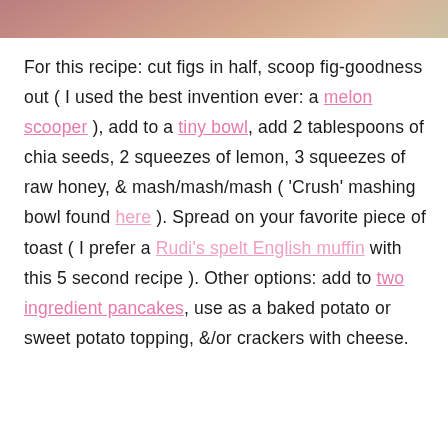[Figure (photo): Partial photo visible at top of page, showing warm pinkish-brown tones, likely food or hands]
For this recipe: cut figs in half, scoop fig-goodness out ( I used the best invention ever: a melon scooper ), add to a tiny bowl, add 2 tablespoons of chia seeds, 2 squeezes of lemon, 3 squeezes of raw honey, & mash/mash/mash ( 'Crush' mashing bowl found here ). Spread on your favorite piece of toast ( I prefer a Rudi's spelt English muffin with this 5 second recipe ). Other options: add to two ingredient pancakes, use as a baked potato or sweet potato topping, &/or crackers with cheese.